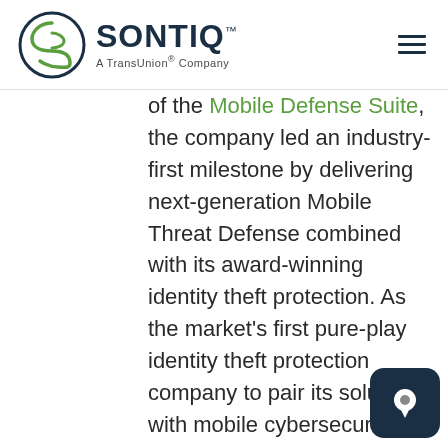SONTIQ™ — A TransUnion® Company
of the Mobile Defense Suite, the company led an industry-first milestone by delivering next-generation Mobile Threat Defense combined with its award-winning identity theft protection. As the market's first pure-play identity theft protection company to pair its solution with mobile cybersecurity, EZShield has extended the value of ID theft protection to IT and InfoSec teams. The Mobile Defense Suite arms all audiences with the po thwart digital and cyber threa delivering 100 percent peace o